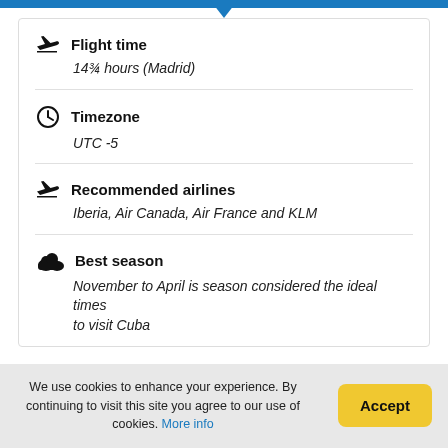Flight time
14¾ hours (Madrid)
Timezone
UTC -5
Recommended airlines
Iberia, Air Canada, Air France and KLM
Best season
November to April is season considered the ideal times to visit Cuba
We use cookies to enhance your experience. By continuing to visit this site you agree to our use of cookies. More info